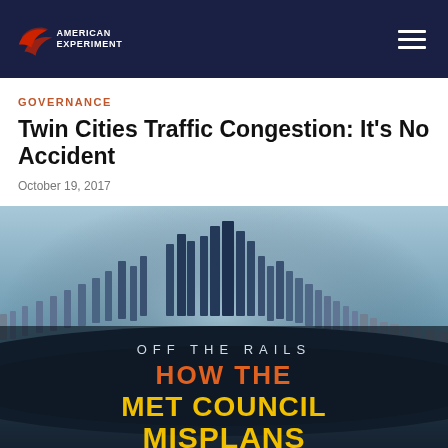American Experiment — navigation bar with logo and hamburger menu
GOVERNANCE
Twin Cities Traffic Congestion: It's No Accident
October 19, 2017
[Figure (illustration): Book/report cover image with dark blue cityscape viewed from above curving at the edges, text reading 'OFF THE RAILS' in white, 'HOW THE' in orange, 'MET COUNCIL' in yellow, 'MISPLANS' in yellow at bottom]